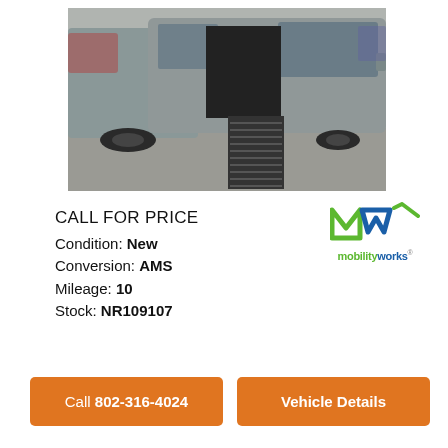[Figure (photo): A gray minivan with wheelchair accessibility ramp deployed from the sliding side door, photographed in a parking lot.]
CALL FOR PRICE
Condition: New
Conversion: AMS
Mileage: 10
Stock: NR109107
[Figure (logo): MobilityWorks logo — stylized MW in green and blue with 'mobilityworks' text below]
Call 802-316-4024
Vehicle Details